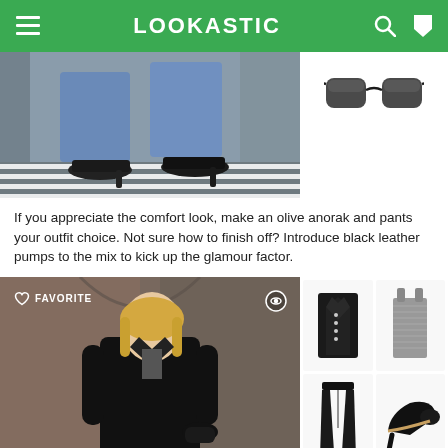LOOKASTIC
[Figure (photo): Woman in blue cropped jeans and black leather pumps walking across a zebra crossing on a city street]
[Figure (photo): Black oversized sunglasses product photo]
If you appreciate the comfort look, make an olive anorak and pants your outfit choice. Not sure how to finish off? Introduce black leather pumps to the mix to kick up the glamour factor.
[Figure (photo): Blonde woman wearing black blazer and grey tank top, standing on a city street, with FAVORITE label overlay]
[Figure (photo): Black double-breasted blazer product photo]
[Figure (photo): Grey ribbed tank top product photo]
[Figure (photo): Black flared trousers product photo]
[Figure (photo): Black high heel d'orsay pump product photo]